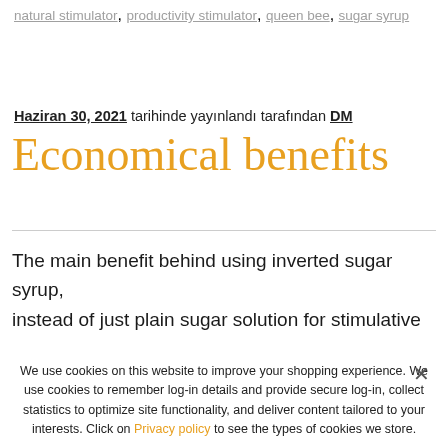natural stimulator, productivity stimulator, queen bee, sugar syrup
Haziran 30, 2021 tarihinde yayınlandı tarafından DM
Economical benefits
The main benefit behind using inverted sugar syrup, instead of just plain sugar solution for stimulative
We use cookies on this website to improve your shopping experience. We use cookies to remember log-in details and provide secure log-in, collect statistics to optimize site functionality, and deliver content tailored to your interests. Click on Privacy policy to see the types of cookies we store.
Ok